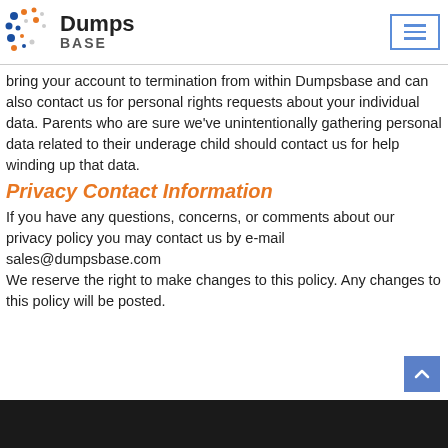DumpsBASE
bring your account to termination from within Dumpsbase and can also contact us for personal rights requests about your individual data. Parents who are sure we've unintentionally gathering personal data related to their underage child should contact us for help winding up that data.
Privacy Contact Information
If you have any questions, concerns, or comments about our privacy policy you may contact us by e-mail sales@dumpsbase.com
We reserve the right to make changes to this policy. Any changes to this policy will be posted.